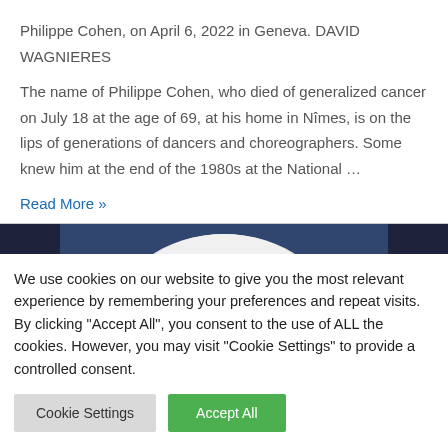Philippe Cohen, on April 6, 2022 in Geneva. DAVID WAGNIERES
The name of Philippe Cohen, who died of generalized cancer on July 18 at the age of 69, at his home in Nîmes, is on the lips of generations of dancers and choreographers. Some knew him at the end of the 1980s at the National …
Read More »
[Figure (photo): Partial photo showing top of a person's head with white/grey hair against a dark background]
We use cookies on our website to give you the most relevant experience by remembering your preferences and repeat visits. By clicking "Accept All", you consent to the use of ALL the cookies. However, you may visit "Cookie Settings" to provide a controlled consent.